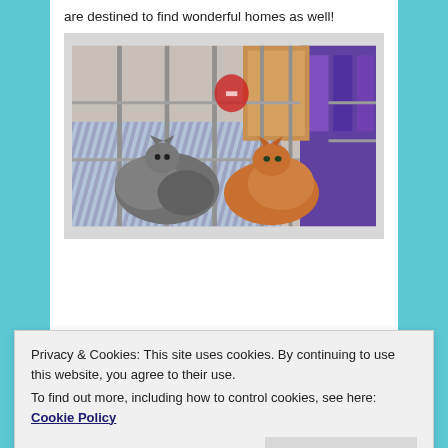are destined to find wonderful homes as well!
[Figure (photo): Cats including kittens and an orange cat inside a metal wire cage with a striped blue and white blanket, with colorful items visible in the background.]
Privacy & Cookies: This site uses cookies. By continuing to use this website, you agree to their use.
To find out more, including how to control cookies, see here: Cookie Policy
Close and accept